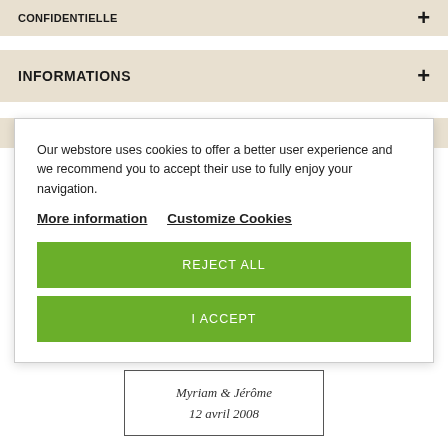INFORMATIONS
Our webstore uses cookies to offer a better user experience and we recommend you to accept their use to fully enjoy your navigation.
More information   Customize Cookies
REJECT ALL
I ACCEPT
[Figure (other): Cursive handwritten-style signature card reading 'Myriam & Jérôme' and '12 avril 2008' inside a rectangular border.]